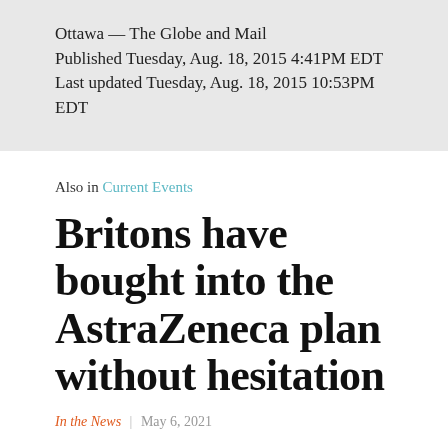Ottawa — The Globe and Mail
Published Tuesday, Aug. 18, 2015 4:41PM EDT
Last updated Tuesday, Aug. 18, 2015 10:53PM EDT
Also in Current Events
Britons have bought into the AstraZeneca plan without hesitation
In the News  |  May 6, 2021